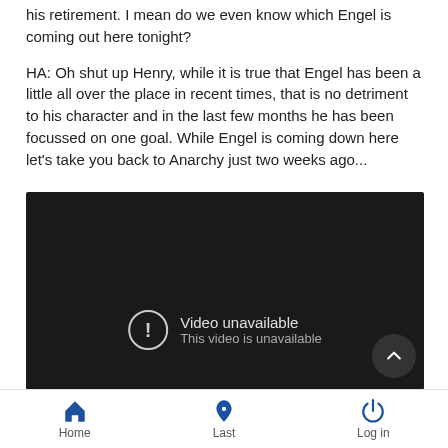his retirement. I mean do we even know which Engel is coming out here tonight?
HA: Oh shut up Henry, while it is true that Engel has been a little all over the place in recent times, that is no detriment to his character and in the last few months he has been focussed on one goal. While Engel is coming down here let's take you back to Anarchy just two weeks ago...
[Figure (screenshot): Embedded video player showing 'Video unavailable - This video is unavailable' message on a dark background with a warning icon and scroll-up button]
Home   Last   Log in